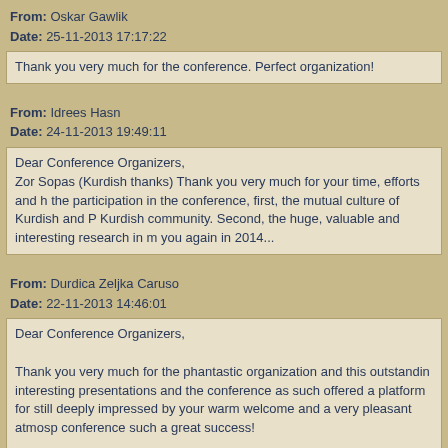From: Oskar Gawlik
Date: 25-11-2013 17:17:22
Thank you very much for the conference. Perfect organization!
From: Idrees Hasn
Date: 24-11-2013 19:49:11
Dear Conference Organizers,
Zor Sopas (Kurdish thanks) Thank you very much for your time, efforts and h... the participation in the conference, first, the mutual culture of Kurdish and P... Kurdish community. Second, the huge, valuable and interesting research in m... you again in 2014...
From: Durdica Zeljka Caruso
Date: 22-11-2013 14:46:01
Dear Conference Organizers,

Thank you very much for the phantastic organization and this outstandin... interesting presentations and the conference as such offered a platform for ... still deeply impressed by your warm welcome and a very pleasant atmosp... conference such a great success!

With very best wishes and warm regards,

Zeljka Caruso